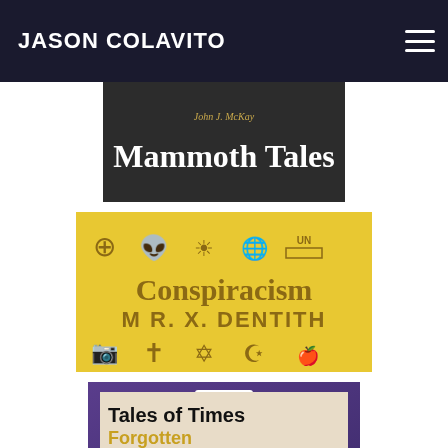JASON COLAVITO
[Figure (illustration): Book cover: 'Mammoth Tales' by John J. McKay, dark background with title text]
[Figure (illustration): Book cover: 'Conspiracism' by M R. X. Dentith, yellow background with various conspiracy-related symbols (Freemason compass, alien, eye, globe, UN, camera, cross, Star of David, crescent star, apple)]
[Figure (illustration): Book cover: 'PALEOBABBLE' by Michael Heiser, purple/violet background with ancient script symbol and white text]
[Figure (illustration): Book cover: 'Tales of Times Forgotten' partially visible at bottom, black and tan text on textured background]